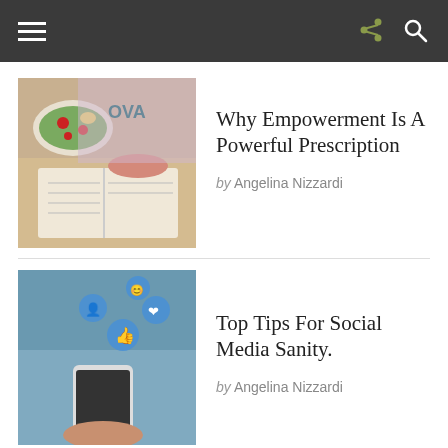[Figure (photo): Woman reading a book with a plate of salad on a table]
Why Empowerment Is A Powerful Prescription
by Angelina Nizzardi
[Figure (photo): Hand holding smartphone with social media like icons floating above]
Top Tips For Social Media Sanity.
by Angelina Nizzardi